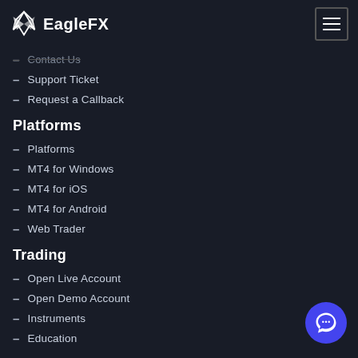EagleFX
Support Ticket
Request a Callback
Platforms
Platforms
MT4 for Windows
MT4 for iOS
MT4 for Android
Web Trader
Trading
Open Live Account
Open Demo Account
Instruments
Education